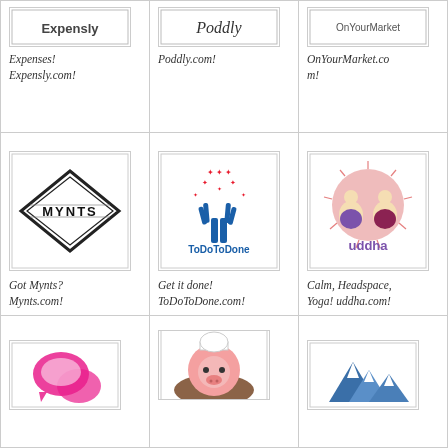[Figure (logo): Expensly logo (partial, top row left)]
Expenses! Expensly.com!
[Figure (logo): Poddly logo with text Poddly (partial, top row center)]
Poddly.com!
[Figure (logo): OnYourMarket logo (partial, top row right)]
OnYourMarket.com!
[Figure (logo): MYNTS diamond-shaped logo]
Got Mynts? Mynts.com!
[Figure (logo): ToDoToDone logo with tree and stars]
Get it done! ToDoToDone.com!
[Figure (logo): uddha logo with meditating figures in circle]
Calm, Headspace, Yoga! uddha.com!
[Figure (logo): Chat bubble logo (partial, bottom row left)]
[Figure (logo): Pig chef logo (partial, bottom row center)]
[Figure (logo): Mountain logo (partial, bottom row right)]